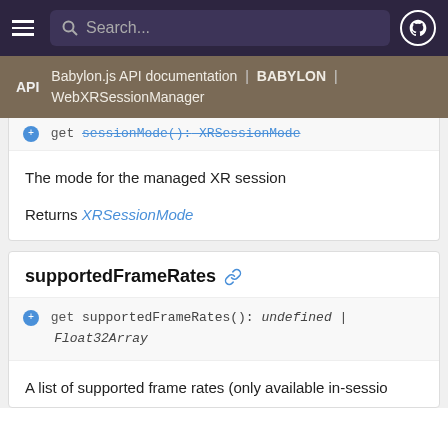Search...
API | Babylon.js API documentation | BABYLON | WebXRSessionManager
get sessionMode(): XRSessionMode
The mode for the managed XR session
Returns XRSessionMode
supportedFrameRates
get supportedFrameRates(): undefined | Float32Array
A list of supported frame rates (only available in-sessio